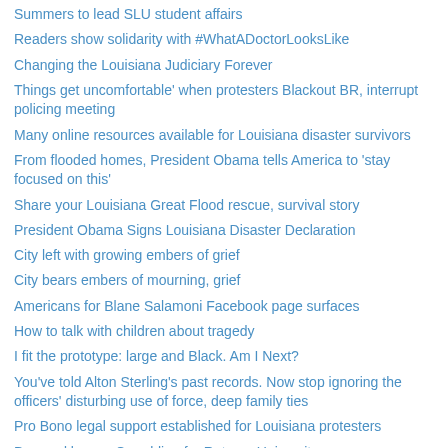Summers to lead SLU student affairs
Readers show solidarity with #WhatADoctorLooksLike
Changing the Louisiana Judiciary Forever
Things get uncomfortable' when protesters Blackout BR, interrupt policing meeting
Many online resources available for Louisiana disaster survivors
From flooded homes, President Obama tells America to 'stay focused on this'
Share your Louisiana Great Flood rescue, survival story
President Obama Signs Louisiana Disaster Declaration
City left with growing embers of grief
City bears embers of mourning, grief
Americans for Blane Salamoni Facebook page surfaces
How to talk with children about tragedy
I fit the prototype: large and Black. Am I Next?
You've told Alton Sterling's past records. Now stop ignoring the officers' disturbing use of force, deep family ties
Pro Bono legal support established for Louisiana protesters
Domond leaves Grambling for Rutgers University
Orchestra festival reaffirms talents of young musicians